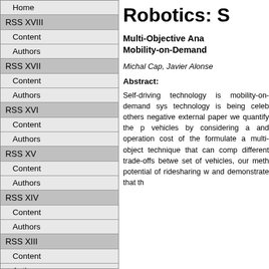Home
RSS XVIII
Content
Authors
RSS XVII
Content
Authors
RSS XVI
Content
Authors
RSS XV
Content
Authors
RSS XIV
Content
Authors
RSS XIII
Content
Authors
RSS XII
Content
Robotics: S
Multi-Objective Anal Mobility-on-Demand
Michal Cap, JavierAlonse
Abstract:
Self-driving technology is mobility-on-demand sys technology is being celeb others negative external paper we quantify the p vehicles by considering a and operation cost of the formulate a multi-object technique that can comp different trade-offs betwe set of vehicles, our meth potential of ridesharing w and demonstrate that th